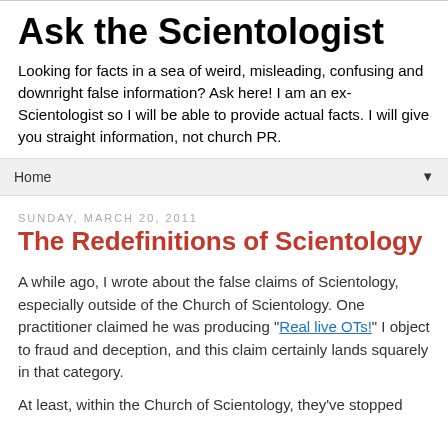Ask the Scientologist
Looking for facts in a sea of weird, misleading, confusing and downright false information? Ask here! I am an ex-Scientologist so I will be able to provide actual facts. I will give you straight information, not church PR.
Home
Sunday, March 20, 2011
The Redefinitions of Scientology
A while ago, I wrote about the false claims of Scientology, especially outside of the Church of Scientology.  One practitioner claimed he was producing "Real live OTs!"  I object to fraud and deception, and this claim certainly lands squarely in that category.
At least, within the Church of Scientology, they've stopped